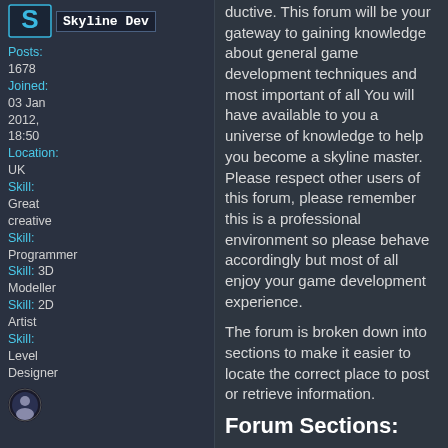[Figure (logo): Skyline Dev logo with stylized S icon and username label]
Posts: 1678
Joined: 03 Jan 2012, 18:50
Location: UK
Skill: Great creative
Skill: Programmer
Skill: 3D Modeller
Skill: 2D Artist
Skill: Level Designer
ductive. This forum will be your gateway to gaining knowledge about general game development techniques and most important of all You will have available to you a universe of knowledge to help you become a skyline master. Please respect other users of this forum, please remember this is a professional environment so please behave accordingly but most of all enjoy your game development experience.
The forum is broken down into sections to make it easier to locate the correct place to post or retrieve information.
Forum Sections:
AuraSoft - [Private] Area for links to internal posts related to general information and AuraSoft Announcements. This post is one of these links